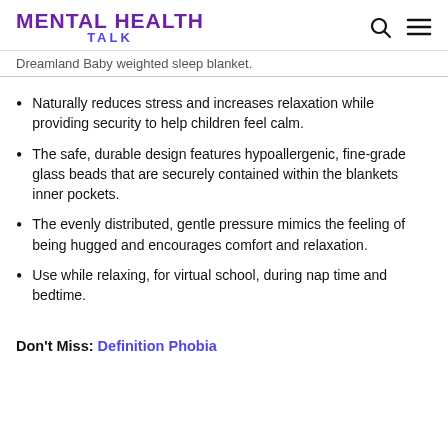MENTAL HEALTH TALK
Dreamland Baby weighted sleep blanket.
Naturally reduces stress and increases relaxation while providing security to help children feel calm.
The safe, durable design features hypoallergenic, fine-grade glass beads that are securely contained within the blankets inner pockets.
The evenly distributed, gentle pressure mimics the feeling of being hugged and encourages comfort and relaxation.
Use while relaxing, for virtual school, during nap time and bedtime.
Don't Miss: Definition Phobia